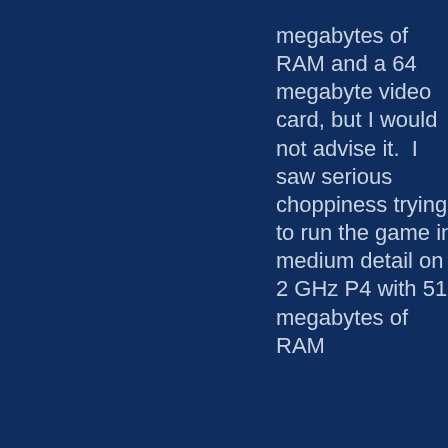megabytes of RAM and a 64 megabyte video card, but I would not advise it.  I saw serious choppiness trying to run the game in medium detail on a 2 GHz P4 with 512 megabytes of RAM